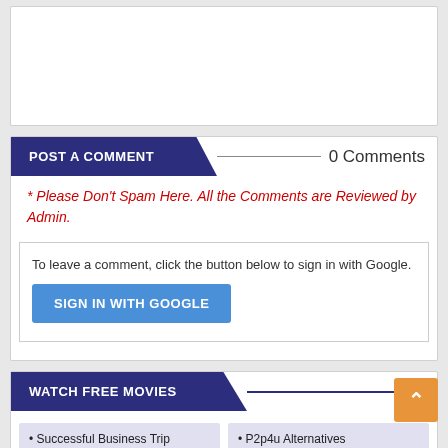[Figure (screenshot): Partial top card, white background, cropped content]
POST A COMMENT
0 Comments
* Please Don't Spam Here. All the Comments are Reviewed by Admin.
To leave a comment, click the button below to sign in with Google.
SIGN IN WITH GOOGLE
WATCH FREE MOVIES
• Successful Business Trip
• P2p4u Alternatives